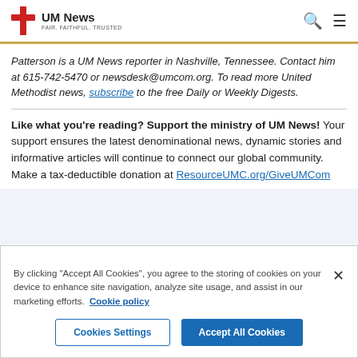UM News — FAIR. FAITHFUL. TRUSTED.
Patterson is a UM News reporter in Nashville, Tennessee. Contact him at 615-742-5470 or newsdesk@umcom.org. To read more United Methodist news, subscribe to the free Daily or Weekly Digests.
Like what you're reading? Support the ministry of UM News! Your support ensures the latest denominational news, dynamic stories and informative articles will continue to connect our global community. Make a tax-deductible donation at ResourceUMC.org/GiveUMCom
By clicking "Accept All Cookies", you agree to the storing of cookies on your device to enhance site navigation, analyze site usage, and assist in our marketing efforts. Cookie policy